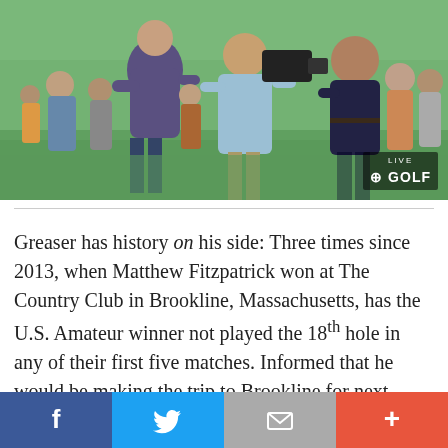[Figure (photo): Outdoor golf scene with several people standing on a green fairway. A TV camera operator in a light blue shirt stands in the middle, with other individuals including someone in a purple shirt and someone in a maroon shirt. Crowd visible in background. NBC Golf LIVE watermark in bottom right corner.]
Greaser has history on his side: Three times since 2013, when Matthew Fitzpatrick won at The Country Club in Brookline, Massachusetts, has the U.S. Amateur winner not played the 18th hole in any of their first five matches. Informed that he would be making the trip to Brookline for next summer's U.S. Open, as well as Augusta National in April, Greaser's reaction was controlled.